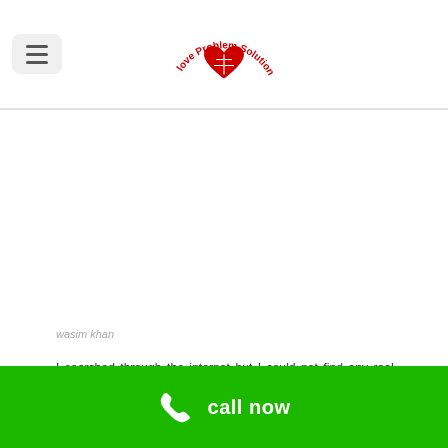Love Problem Solution [logo]
wasim khan
I searched through the internet but I could not find any real astrologer.Everyone took my money and I wasted money from my own source. When the mind had accepted defeat from all over the place, I believed in you last time. your all dua is working. now m happy with my wife.
call now